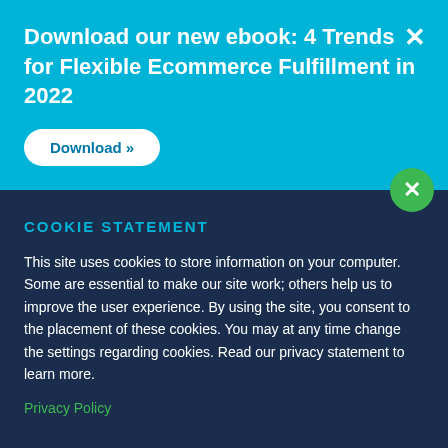Download our new ebook: 4 Trends for Flexible Ecommerce Fulfillment in 2022
Download »
COOKIE STATEMENT
This site uses cookies to store information on your computer. Some are essential to make our site work; others help us to improve the user experience. By using the site, you consent to the placement of these cookies. You may at any time change the settings regarding cookies. Read our privacy statement to learn more.
Privacy Policy